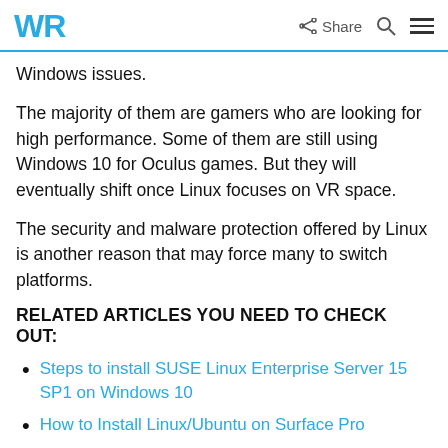WR | Share
Windows issues.
The majority of them are gamers who are looking for high performance. Some of them are still using Windows 10 for Oculus games. But they will eventually shift once Linux focuses on VR space.
The security and malware protection offered by Linux is another reason that may force many to switch platforms.
RELATED ARTICLES YOU NEED TO CHECK OUT:
Steps to install SUSE Linux Enterprise Server 15 SP1 on Windows 10
How to Install Linux/Ubuntu on Surface Pro